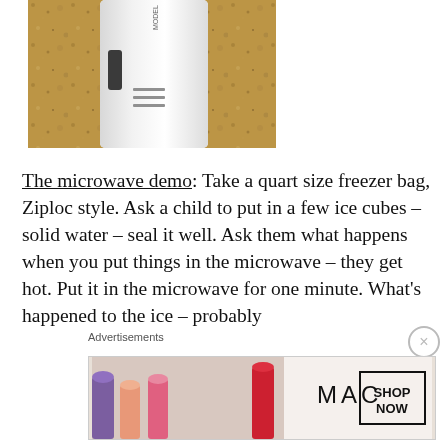[Figure (photo): Photo of a white kitchen appliance (blender or similar) sitting on a granite countertop, viewed from above/side angle]
The microwave demo: Take a quart size freezer bag, Ziploc style. Ask a child to put in a few ice cubes – solid water – seal it well. Ask them what happens when you put things in the microwave – they get hot. Put it in the microwave for one minute. What's happened to the ice – probably
Advertisements
[Figure (photo): MAC Cosmetics advertisement showing lipsticks and SHOP NOW button]